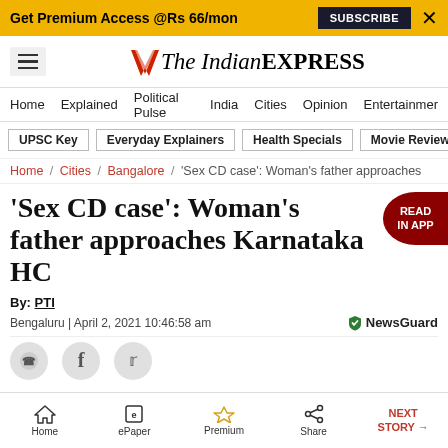Get Premium Access @Rs 66/mon  SUBSCRIBE  X
The Indian EXPRESS
Home / Explained / Political Pulse / India / Cities / Opinion / Entertainmer
UPSC Key  Everyday Explainers  Health Specials  Movie Reviews
Home / Cities / Bangalore / 'Sex CD case': Woman's father approaches
'Sex CD case': Woman's father approaches Karnataka HC
By: PTI
Bengaluru | April 2, 2021 10:46:58 am
Home  ePaper  Premium  Share  NEXT STORY →